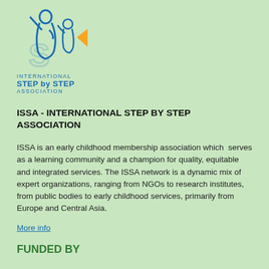[Figure (logo): ISSA - International Step by Step Association logo: blue stylized figures with orange accent, text 'INTERNATIONAL STEP by STEP ASSOCIATION' in blue]
ISSA - INTERNATIONAL STEP BY STEP ASSOCIATION
ISSA is an early childhood membership association which serves as a learning community and a champion for quality, equitable and integrated services. The ISSA network is a dynamic mix of expert organizations, ranging from NGOs to research institutes, from public bodies to early childhood services, primarily from Europe and Central Asia.
More info
FUNDED BY